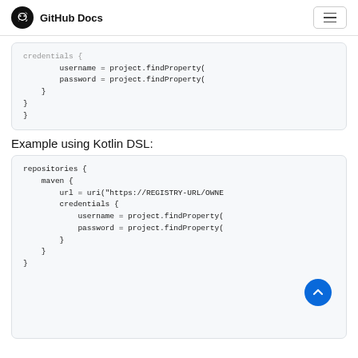GitHub Docs
[Figure (screenshot): Code block showing credentials with username and password using project.findProperty(, truncated]
Example using Kotlin DSL:
[Figure (screenshot): Code block showing repositories { maven { url = uri("https://REGISTRY-URL/OWNE..."), credentials { username = project.findProperty(, password = project.findProperty( } } }]